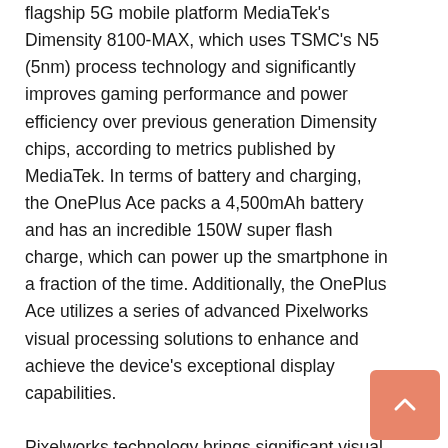flagship 5G mobile platform MediaTek's Dimensity 8100-MAX, which uses TSMC's N5 (5nm) process technology and significantly improves gaming performance and power efficiency over previous generation Dimensity chips, according to metrics published by MediaTek. In terms of battery and charging, the OnePlus Ace packs a 4,500mAh battery and has an incredible 150W super flash charge, which can power up the smartphone in a fraction of the time. Additionally, the OnePlus Ace utilizes a series of advanced Pixelworks visual processing solutions to enhance and achieve the device's exceptional display capabilities.

Pixelworks technology brings significant visual